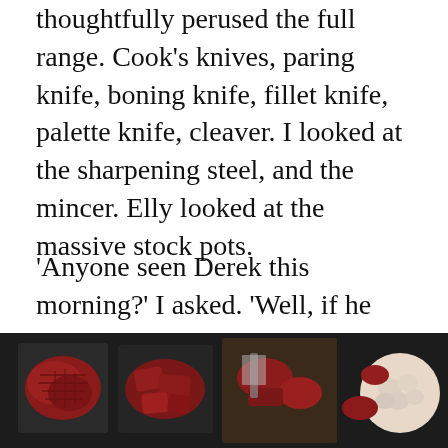thoughtfully perused the full range. Cook’s knives, paring knife, boning knife, fillet knife, palette knife, cleaver. I looked at the sharpening steel, and the mincer. Elly looked at the massive stock pots.
‘Anyone seen Derek this morning?’ I asked. ‘Well, if he can’t be bothered to turn up for work, we’ll just have to manage without him.’
*
[Figure (photo): Close-up photo of raw meat cuts and pieces on dark trays/boards, including minced meat, chunks, and what appears to be cauliflower, with a cleaver visible.]